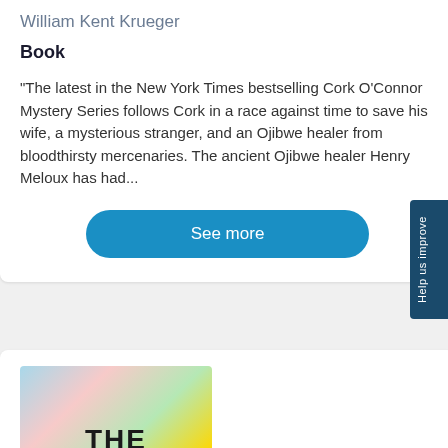William Kent Krueger
Book
"The latest in the New York Times bestselling Cork O'Connor Mystery Series follows Cork in a race against time to save his wife, a mysterious stranger, and an Ojibwe healer from bloodthirsty mercenaries. The ancient Ojibwe healer Henry Meloux has had...
[Figure (other): Blue rounded-rectangle button labeled 'See more']
[Figure (illustration): Book cover for 'The Darkness of Others - A Thriller' with colorful blurred abstract face background and bold black title text]